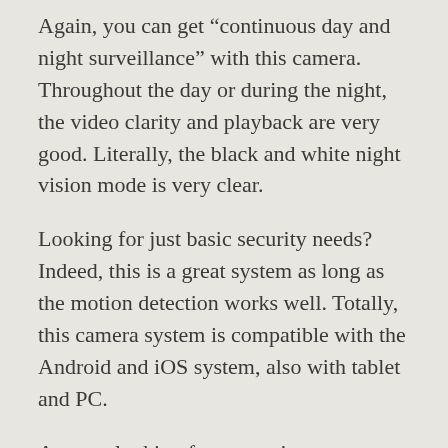Again, you can get “continuous day and night surveillance” with this camera. Throughout the day or during the night, the video clarity and playback are very good. Literally, the black and white night vision mode is very clear.
Looking for just basic security needs? Indeed, this is a great system as long as the motion detection works well. Totally, this camera system is compatible with the Android and iOS system, also with tablet and PC.
Are you looking for a security camera with easy remote monitoring? Downloading the free app allows remote viewing and playback recordings. Correspondingly, you’ll get alerts to your phone. Playing back videos, however,